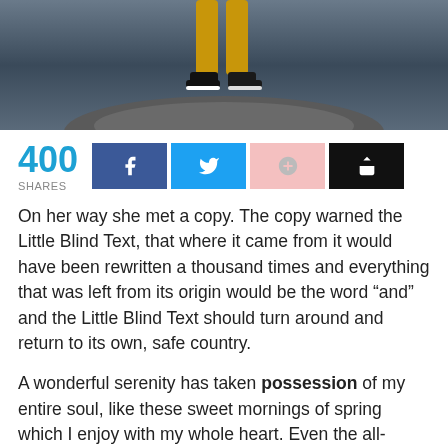[Figure (photo): Person standing on a rocky outcrop against a dramatic cloudy sky, only the lower legs and shoes visible]
400 SHARES
On her way she met a copy. The copy warned the Little Blind Text, that where it came from it would have been rewritten a thousand times and everything that was left from its origin would be the word “and” and the Little Blind Text should turn around and return to its own, safe country.
A wonderful serenity has taken possession of my entire soul, like these sweet mornings of spring which I enjoy with my whole heart. Even the all-powerful Pointing has no control about the blind texts it is an almost unorthographic life One day however a small